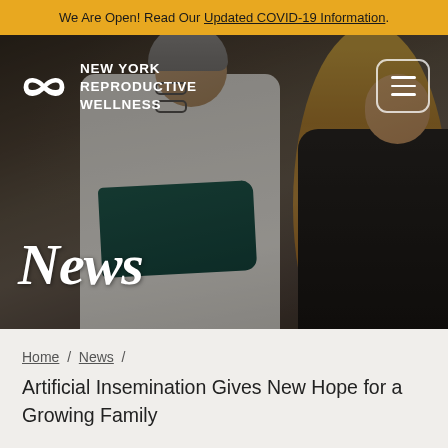We Are Open! Read Our Updated COVID-19 Information.
[Figure (photo): Hero image of a doctor in a white coat reviewing a teal/green folder with a blonde female patient. Overlay shows New York Reproductive Wellness logo and 'News' title.]
News
Home / News /
Artificial Insemination Gives New Hope for a Growing Family